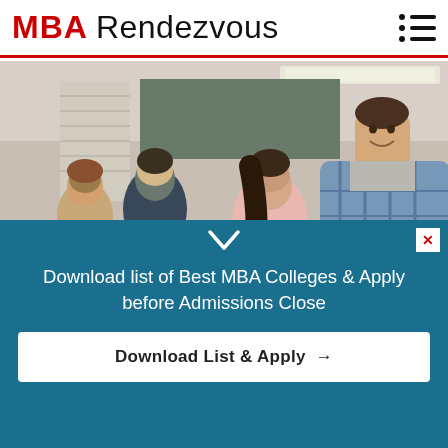MBA Rendezvous
[Figure (photo): Students in a classroom sitting at desks, writing. A smiling young man in a plaid shirt is in the foreground on the right, with other students studying in the background.]
Registrations for NMAT by GMAC™ exam to open from
Download list of Best MBA Colleges & Apply before Admissions Close
Download List & Apply →